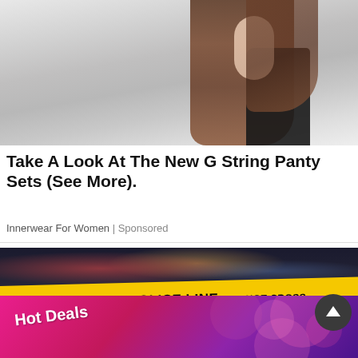[Figure (photo): Woman with long brown hair wearing a black top, posing against a light background — advertisement image for innerwear]
Take A Look At The New G String Panty Sets (See More).
Innerwear For Women | Sponsored
[Figure (photo): Police crime scene tape reading 'DO NOT CROSS POLICE LINE- DO NOT CROSS' and '1-800-222-8477 (tips) CALL CRIME STOPPERS 1-800...' against a blurry city background at night]
[Figure (infographic): Hot Deals promotional banner with pink and purple gradient background and decorative floral elements]